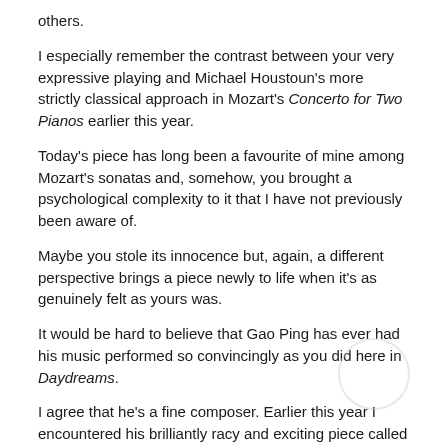others.
I especially remember the contrast between your very expressive playing and Michael Houstoun's more strictly classical approach in Mozart's Concerto for Two Pianos earlier this year.
Today's piece has long been a favourite of mine among Mozart's sonatas and, somehow, you brought a psychological complexity to it that I have not previously been aware of.
Maybe you stole its innocence but, again, a different perspective brings a piece newly to life when it's as genuinely felt as yours was.
It would be hard to believe that Gao Ping has ever had his music performed so convincingly as you did here in Daydreams.
I agree that he's a fine composer. Earlier this year I encountered his brilliantly racy and exciting piece called Finale played by an instrumental ensemble.
And thank you for talking to us!